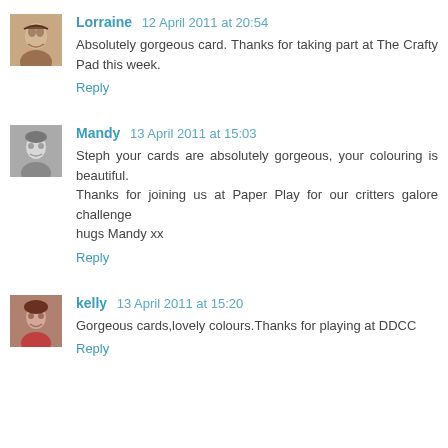Lorraine 12 April 2011 at 20:54
Absolutely gorgeous card. Thanks for taking part at The Crafty Pad this week.
Reply
Mandy 13 April 2011 at 15:03
Steph your cards are absolutely gorgeous, your colouring is beautiful.
Thanks for joining us at Paper Play for our critters galore challenge
hugs Mandy xx
Reply
kelly 13 April 2011 at 15:20
Gorgeous cards,lovely colours.Thanks for playing at DDCC
Reply